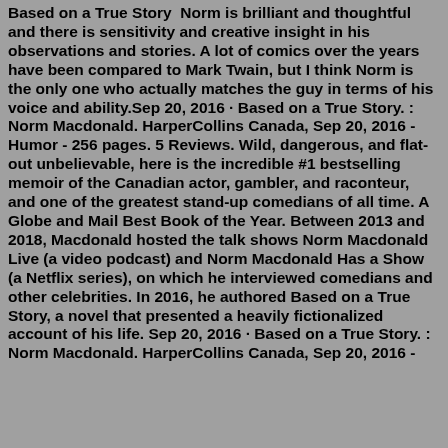Based on a True Story  Norm is brilliant and thoughtful and there is sensitivity and creative insight in his observations and stories. A lot of comics over the years have been compared to Mark Twain, but I think Norm is the only one who actually matches the guy in terms of his voice and ability.Sep 20, 2016 · Based on a True Story. : Norm Macdonald. HarperCollins Canada, Sep 20, 2016 - Humor - 256 pages. 5 Reviews. Wild, dangerous, and flat-out unbelievable, here is the incredible #1 bestselling memoir of the Canadian actor, gambler, and raconteur, and one of the greatest stand-up comedians of all time. A Globe and Mail Best Book of the Year. Between 2013 and 2018, Macdonald hosted the talk shows Norm Macdonald Live (a video podcast) and Norm Macdonald Has a Show (a Netflix series), on which he interviewed comedians and other celebrities. In 2016, he authored Based on a True Story, a novel that presented a heavily fictionalized account of his life. Sep 20, 2016 · Based on a True Story. : Norm Macdonald. HarperCollins Canada, Sep 20, 2016 -